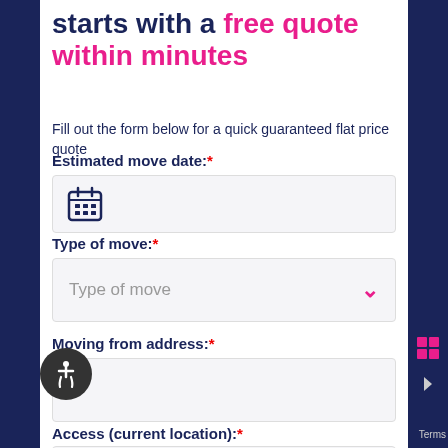starts with a free quote within minutes
Fill out the form below for a quick guaranteed flat price quote
Estimated move date:*
Type of move:*
Moving from address:*
Access (current location):*